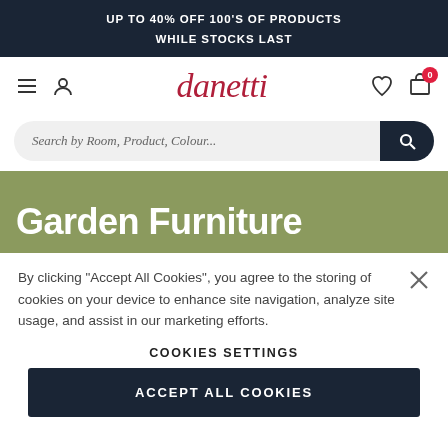UP TO 40% OFF 100'S OF PRODUCTS
WHILE STOCKS LAST
[Figure (logo): Danetti furniture website navigation bar with hamburger menu, user icon, danetti logo in red italic, heart icon, and shopping bag with 0 badge]
Search by Room, Product, Colour...
Garden Furniture
By clicking "Accept All Cookies", you agree to the storing of cookies on your device to enhance site navigation, analyze site usage, and assist in our marketing efforts.
COOKIES SETTINGS
ACCEPT ALL COOKIES